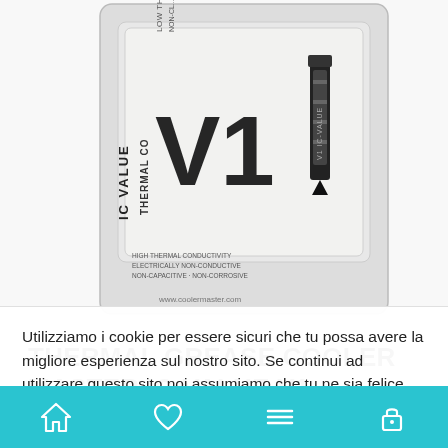[Figure (photo): Product photo of Cooler Master IC-Value V1 thermal grease in blister packaging, showing syringe and card with text V1 IC VALUE THERMAL CO (conductivity), HIGH THERMAL CONDUCTIVITY, ELECTRICALLY NON-CONDUCTIVE, NON-CAPACITIVE, NON-CORROSIVE, www.coolermaster.com]
THERMAL GREASE COOLER MASTER IC-VALUE V1
€5.90
Utilizziamo i cookie per essere sicuri che tu possa avere la migliore esperienza sul nostro sito. Se continui ad utilizzare questo sito noi assumiamo che tu ne sia felice.
Cookie settings
ACCETTA